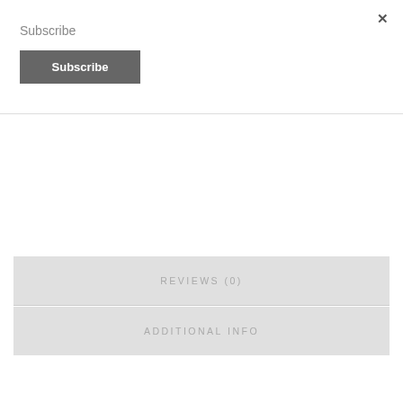×
Subscribe
[Figure (screenshot): A dark grey 'Subscribe' button with white bold text]
REVIEWS (0)
ADDITIONAL INFO